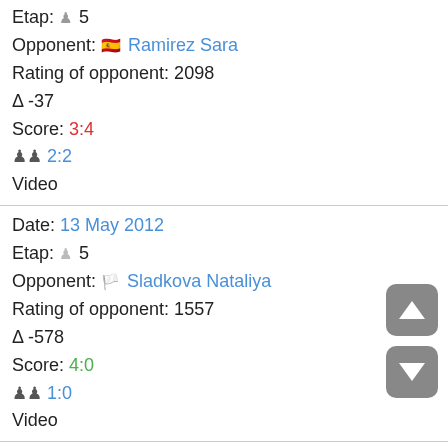Etap: 5
Opponent: Ramirez Sara
Rating of opponent: 2098
Δ -37
Score: 3:4
2:2
Video
Date: 13 May 2012
Etap: 5
Opponent: Sladkova Nataliya
Rating of opponent: 1557
Δ -578
Score: 4:0
1:0
Video
Date: 13 May 2012
Etap: 32
Opponent: Bilenko Tetyana